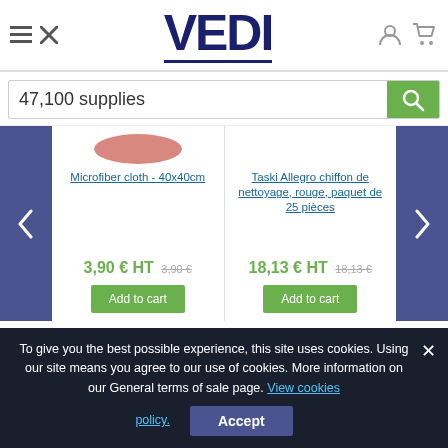[Figure (logo): VEDI company logo in dark navy blue bold text with underline]
47,100 supplies
Microfiber cloth - 40x40cm
Taski Allegro chiffon de nettoyage, rouge, paquet de 25 pièces
3,90 € HT 3,90 €
18,13 € HT 18,13 €
Add to cart
Add to cart
To give you the best possible experience, this site uses cookies. Using our site means you agree to our use of cookies. More information on our General terms of sale page. View cookies policy. Accept